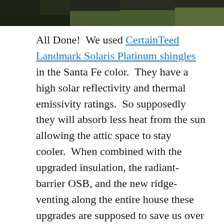[Figure (photo): Top partial photo strip showing outdoor scene with dark vegetation and grass]
All Done!  We used CertainTeed Landmark Solaris Platinum shingles in the Santa Fe color.  They have a high solar reflectivity and thermal emissivity ratings.  So supposedly they will absorb less heat from the sun allowing the attic space to stay cooler.  When combined with the upgraded insulation, the radiant-barrier OSB, and the new ridge-venting along the entire house these upgrades are supposed to save us over $500 a year in heating and cooling costs.  This was calculated using Oak Ridge National Laboratory's Roof Savings Calculator.